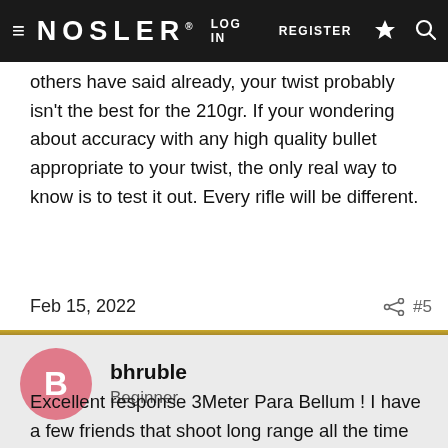NOSLER — LOG IN   REGISTER
others have said already, your twist probably isn't the best for the 210gr. If your wondering about accuracy with any high quality bullet appropriate to your twist, the only real way to know is to test it out. Every rifle will be different.
Feb 15, 2022   #5
bhruble
Beginner
Excellent response 3Meter Para Bellum ! I have a few friends that shoot long range all the time and have had custom rifles built in various calibers and have gone with 1:9 twist rates barrels for the .30 calibers and bullets over 200 grains . For this reason they all shoot out standing !